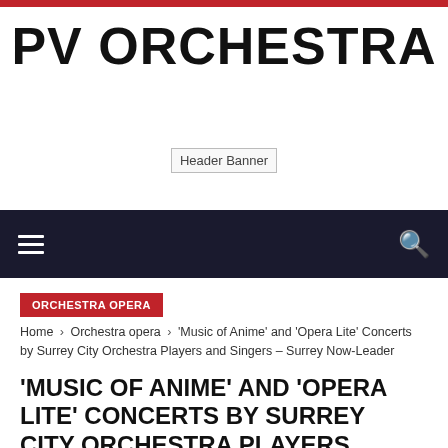PV ORCHESTRA
[Figure (other): Header Banner placeholder image]
[Figure (other): Navigation bar with hamburger menu and search icon]
ORCHESTRA OPERA
Home › Orchestra opera › 'Music of Anime' and 'Opera Lite' Concerts by Surrey City Orchestra Players and Singers – Surrey Now-Leader
'MUSIC OF ANIME' AND 'OPERA LITE' CONCERTS BY SURREY CITY ORCHESTRA PLAYERS AND SINGERS –